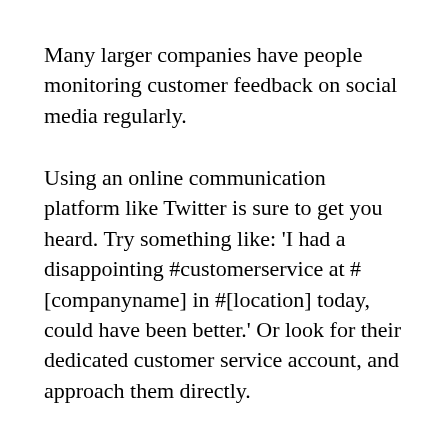Many larger companies have people monitoring customer feedback on social media regularly.
Using an online communication platform like Twitter is sure to get you heard. Try something like: 'I had a disappointing #customerservice at #[companyname] in #[location] today, could have been better.' Or look for their dedicated customer service account, and approach them directly.